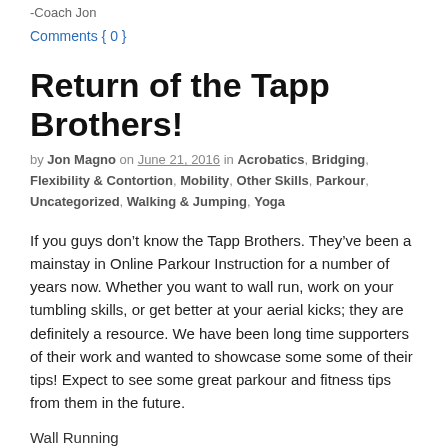-Coach Jon
Comments { 0 }
Return of the Tapp Brothers!
by Jon Magno on June 21, 2016 in Acrobatics, Bridging, Flexibility & Contortion, Mobility, Other Skills, Parkour, Uncategorized, Walking & Jumping, Yoga
If you guys don’t know the Tapp Brothers. They’ve been a mainstay in Online Parkour Instruction for a number of years now. Whether you want to wall run, work on your tumbling skills, or get better at your aerial kicks; they are definitely a resource. We have been long time supporters of their work and wanted to showcase some some of their tips! Expect to see some great parkour and fitness tips from them in the future.
Wall Running
[Figure (photo): Two-panel photo: left panel shows person doing parkour on a stone wall; right panel shows a person with trees in background.]